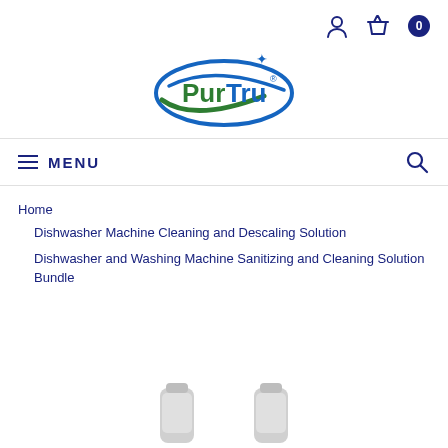[Figure (logo): PurTru brand logo — oval shape with green and blue swoosh, green and blue text 'PurTru' with sparkle star accent]
MENU
Home
Dishwasher Machine Cleaning and Descaling Solution
Dishwasher and Washing Machine Sanitizing and Cleaning Solution Bundle
[Figure (photo): Two product bottles partially visible at bottom of page]